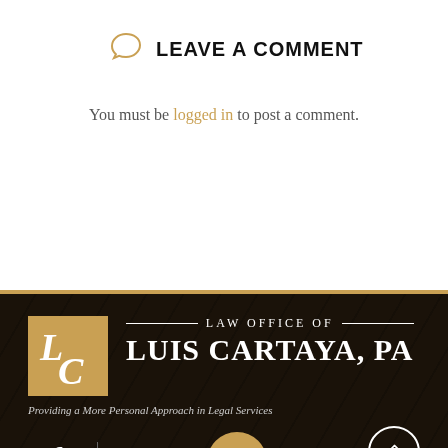LEAVE A COMMENT
You must be logged in to post a comment.
[Figure (logo): Law Office of Luis Cartaya, PA logo — gold LC monogram box with firm name in white serif text on dark background]
Providing a More Personal Approach in Legal Services
Facebook  LinkedIn
PRACTICE AREAS